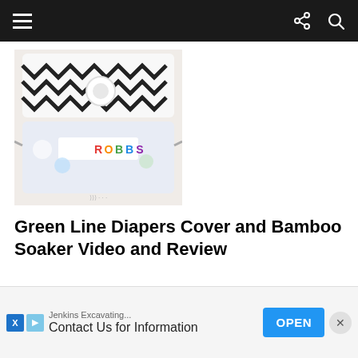Navigation bar with hamburger menu, share icon, and search icon
[Figure (photo): Cloth diaper with black and white chevron zigzag pattern on top and colorful cartoon print on bottom with Velcro fasteners]
Green Line Diapers Cover and Bamboo Soaker Video and Review
[Figure (photo): Cloth diaper with cream/yellow background and colorful flamingo print pattern]
Gree...
Jenkins Excavating... Contact Us for Information OPEN